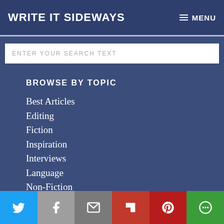WRITE IT SIDEWAYS
ENTER YOUR SEARCH TEXT
BROWSE BY TOPIC
Best Articles
Editing
Fiction
Inspiration
Interviews
Language
Non-Fiction
Productivity
Twitter | Facebook | Email | Flipboard | Pinterest | More